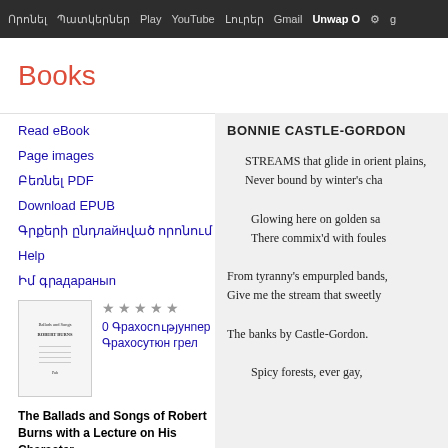Որոնել Պատկերներ Play YouTube Լուրեր Gmail Unwrap O⚙g
Books
146 - 150
Page images  ↓ PDF  ↓ EPUB
Read eBook
Page images
Բեռնել PDF
Download EPUB
Գրքերի ընդլայնված որոնում
Help
Իմ գրադարանը
0 Գրախոսություններ ⓘ
Գրախոսություն գրել
The Ballads and Songs of Robert Burns with a Lecture on His Character
BONNIE CASTLE-GORDON

STREAMS that glide in orient plains,
Never bound by winter's chains;

Glowing here on golden sands,
There commix'd with foules

From tyranny's empurpled bands,
Give me the stream that sweetly

The banks by Castle-Gordon.

Spicy forests, ever gay,